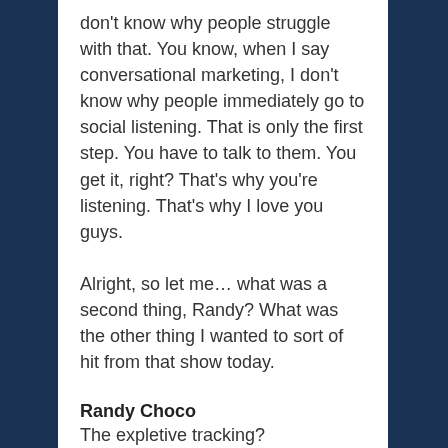don't know why people struggle with that. You know, when I say conversational marketing, I don't know why people immediately go to social listening. That is only the first step. You have to talk to them. You get it, right? That's why you're listening. That's why I love you guys.
Alright, so let me… what was a second thing, Randy? What was the other thing I wanted to sort of hit from that show today.
Randy Choco
The expletive tracking?